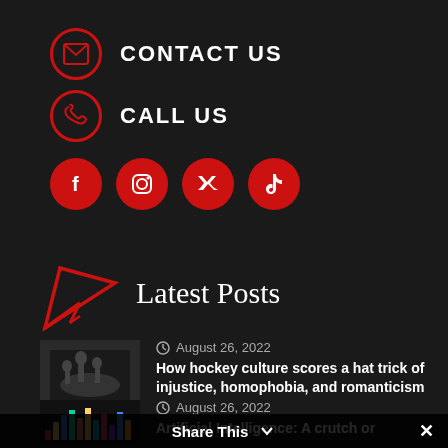CONTACT US
CALL US
[Figure (infographic): Social media icons: Facebook, Instagram, Twitter, TikTok — red filled circles with white logos]
Latest Posts
August 26, 2022 — How hockey culture scores a hat trick of injustice, homophobia, and romanticism
August 26, 2022 — Artificial Intelligence: A crutch or
Share This